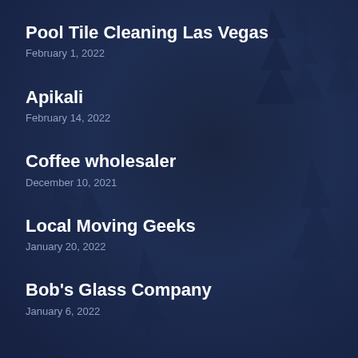Pool Tile Cleaning Las Vegas
February 1, 2022
Apikali
February 14, 2022
Coffee wholesaler
December 10, 2021
Local Moving Geeks
January 20, 2022
Bob's Glass Company
January 6, 2022